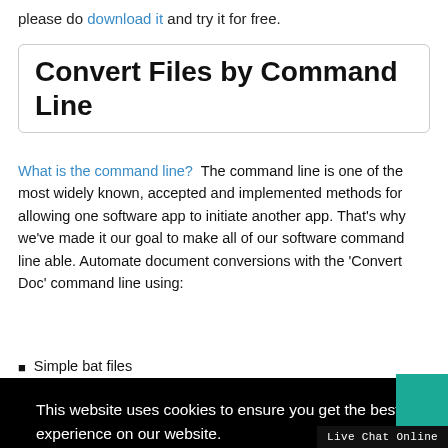please do download it and try it for free.
Convert Files by Command Line
What is the command line?  The command line is one of the most widely known, accepted and implemented methods for allowing one software app to initiate another app. That's why we've made it our goal to make all of our software command line able. Automate document conversions with the 'Convert Doc' command line using:
Simple bat files
This website uses cookies to ensure you get the best experience on our website.
Learn more
Got it!
Live Chat Online